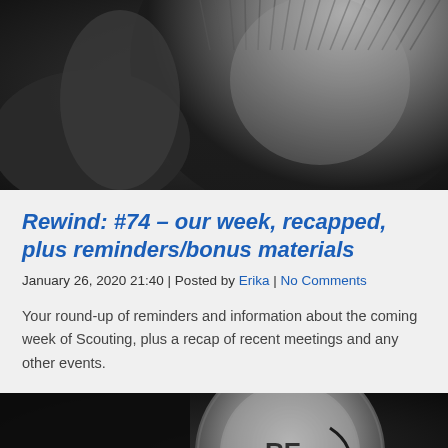[Figure (photo): Close-up black and white photo of a mechanical rewind knob or dial, textured ridged edge visible, dark background]
Rewind: #74 – our week, recapped, plus reminders/bonus materials
January 26, 2020 21:40 | Posted by Erika | No Comments
Your round-up of reminders and information about the coming week of Scouting, plus a recap of recent meetings and any other events.
[Figure (photo): Close-up black and white photo of a mechanical rewind dial showing 'RE' text and arrow, metallic textured surface]